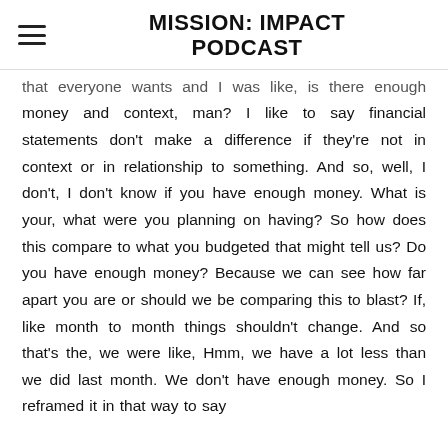MISSION: IMPACT PODCAST
that everyone wants and I was like, is there enough money and context, man? I like to say financial statements don't make a difference if they're not in context or in relationship to something. And so, well, I don't, I don't know if you have enough money. What is your, what were you planning on having? So how does this compare to what you budgeted that might tell us? Do you have enough money? Because we can see how far apart you are or should we be comparing this to blast? If, like month to month things shouldn't change. And so that's the, we were like, Hmm, we have a lot less than we did last month. We don't have enough money. So I reframed it in that way to say